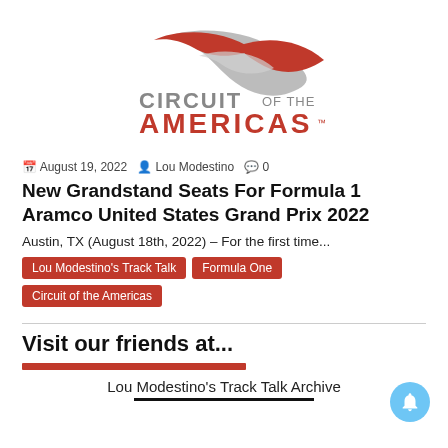[Figure (logo): Circuit of the Americas logo with red swoosh graphic above the text 'CIRCUIT OF THE AMERICAS' in red and gray.]
August 19, 2022  Lou Modestino  0
New Grandstand Seats For Formula 1 Aramco United States Grand Prix 2022
Austin, TX (August 18th, 2022) – For the first time...
Lou Modestino's Track Talk
Formula One
Circuit of the Americas
Visit our friends at...
Lou Modestino's Track Talk Archive